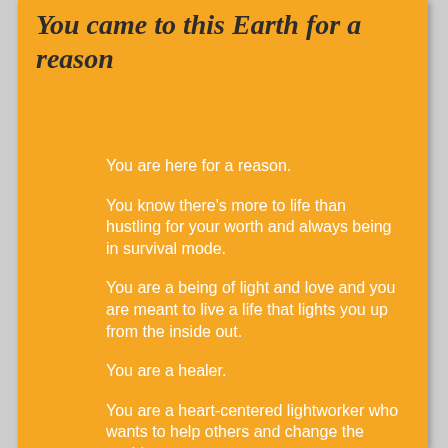You came to this Earth for a reason
You are here for a reason.
You know there's more to life than hustling for your worth and always being in survival mode.
You are a being of light and love and you are meant to live a life that lights you up from the inside out.
You are a healer.
You are a heart-centered lightworker who wants to help others and change the world.